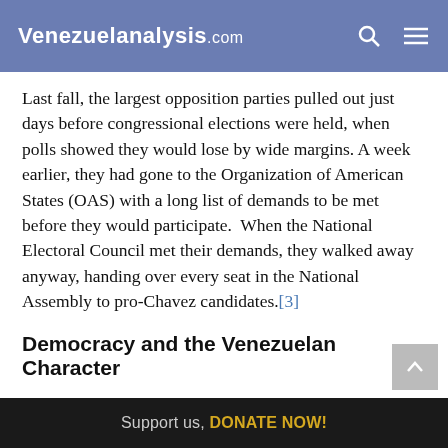Venezuelanalysis.com
Last fall, the largest opposition parties pulled out just days before congressional elections were held, when polls showed they would lose by wide margins. A week earlier, they had gone to the Organization of American States (OAS) with a long list of demands to be met before they would participate.  When the National Electoral Council met their demands, they walked away anyway, handing over every seat in the National Assembly to pro-Chavez candidates.[3]
Democracy and the Venezuelan Character
Support us, DONATE NOW!